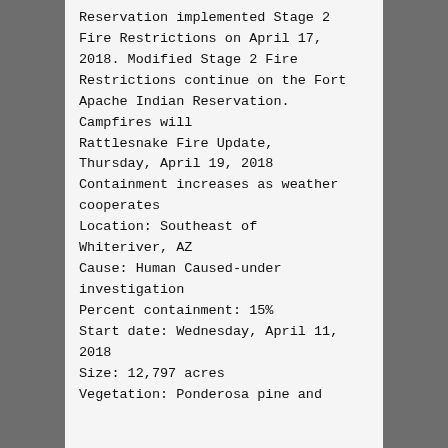Reservation implemented Stage 2 Fire Restrictions on April 17, 2018. Modified Stage 2 Fire Restrictions continue on the Fort Apache Indian Reservation. Campfires will
Rattlesnake Fire Update, Thursday, April 19, 2018
Containment increases as weather cooperates
Location: Southeast of Whiteriver, AZ
Cause: Human Caused-under investigation
Percent containment: 15%
Start date: Wednesday, April 11, 2018
Size: 12,797 acres
Vegetation: Ponderosa pine and